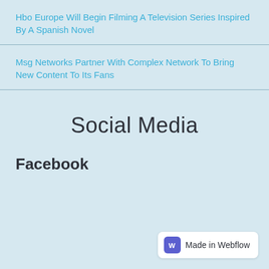Hbo Europe Will Begin Filming A Television Series Inspired By A Spanish Novel
Msg Networks Partner With Complex Network To Bring New Content To Its Fans
Social Media
Facebook
[Figure (logo): Made in Webflow badge with purple W icon]